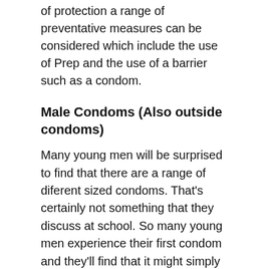of protection a range of preventative measures can be considered which include the use of Prep and the use of a barrier such as a condom.
Male Condoms (Also outside condoms)
Many young men will be surprised to find that there are a range of diferent sized condoms. That's certainly not something that they discuss at school. So many young men experience their first condom and they'll find that it might simply fall off, or be so tight that they can't feel anything. We have other guides here that will tell you how to correctly fit a condom, but suffice to say if it doesn't fit right – rest assured that they will make a condom for you. On that note – only wear a single condom at a time, and change it with each sexual activity. If you're wearing it from oral, to insertion and back to oral – you'll be wanting to change the condom. You can even use condoms over toys! Say for example you're both into bottoming and you